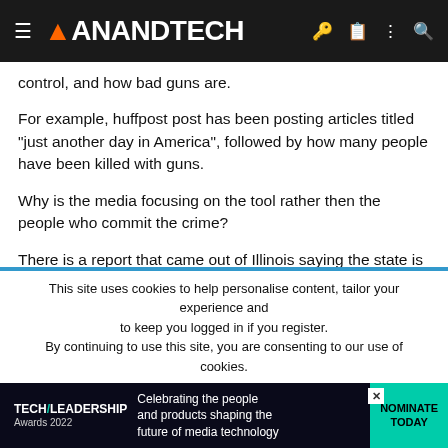AnandTech
control, and how bad guns are.
For example, huffpost post has been posting articles titled "just another day in America", followed by how many people have been killed with guns.
Why is the media focusing on the tool rather then the people who commit the crime?
There is a report that came out of Illinois saying the state is not enforcing gun laws. If a convicted felon is caught with a gun, its an automatic federal crime, but those criminals are not being prosecuted.
This site uses cookies to help personalise content, tailor your experience and to keep you logged in if you register.
By continuing to use this site, you are consenting to our use of cookies.
[Figure (infographic): Tech Leadership Awards 2022 advertisement banner: Celebrating the people and products shaping the future of media technology. Nominate Today.]